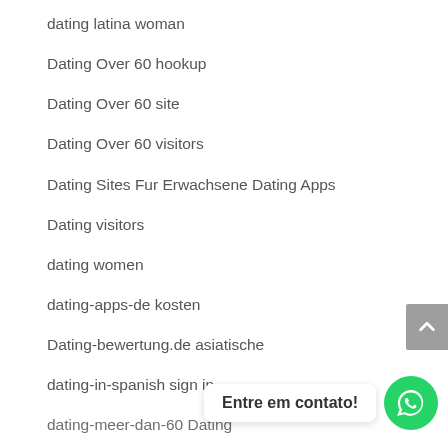dating latina woman
Dating Over 60 hookup
Dating Over 60 site
Dating Over 60 visitors
Dating Sites Fur Erwachsene Dating Apps
Dating visitors
dating women
dating-apps-de kosten
Dating-bewertung.de asiatische
dating-in-spanish sign in
dating-meer-dan-60 Dating
dating-op-leeftijdssites Review
dating-sites-voor-alleenstaande-ouders